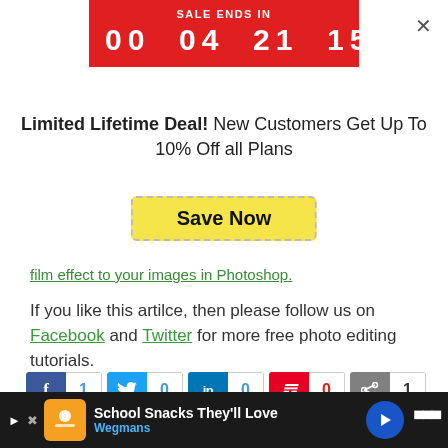[Figure (infographic): Red sale countdown banner showing SALE ENDS IN 00 04 21 15]
Limited Lifetime Deal! New Customers Get Up To 10% Off all Plans
Save Now
film effect to your images in Photoshop.
If you like this artilce, then please follow us on Facebook and Twitter for more free photo editing tutorials.
[Figure (infographic): Social share buttons: Facebook(1), Twitter(0), LinkedIn(0), Pinterest(0), Share(1)]
Using WordPress and want to get Envira Gallery free?
School Snacks They'll Love Wegmans